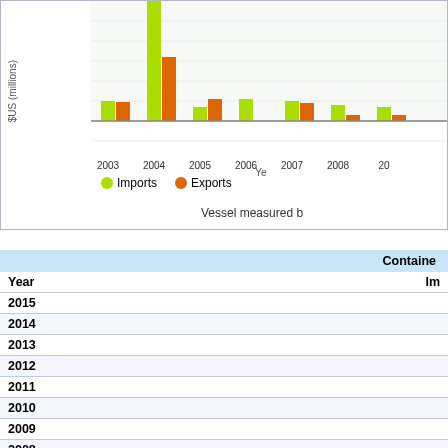[Figure (grouped-bar-chart): ]
Vessel measured b...
| Year | Container Im... |
| --- | --- |
| 2015 |  |
| 2014 |  |
| 2013 |  |
| 2012 |  |
| 2011 |  |
| 2010 |  |
| 2009 |  |
| 2008 |  |